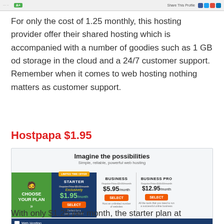[Figure (screenshot): Top navigation bar with grade button A+, Share This Profile text, and social media icons (Facebook, Twitter, Google+, LinkedIn)]
For only the cost of 1.25 monthly, this hosting provider offer their shared hosting which is accompanied with a number of goodies such as 1 GB od storage in the cloud and a 24/7 customer support. Remember when it comes to web hosting nothing matters as customer support.
Hostpapa $1.95
[Figure (screenshot): Hostpapa web hosting advertisement showing 'Imagine the possibilities - Simple, reliable, powerful web hosting' with three pricing plans: STARTER at $1.95/month (Limited Time Offer, regular price $5.99/month), BUSINESS at $5.95/month (regular price $9.99/month), and BUSINESS PRO at $12.95/month (regular price $18.99/month), each with SELECT buttons. Left side shows green 'CHOOSE YOUR PLAN' section with mascot. Bottom bar shows Web Hosting label.]
With only $1.25 per month, the starter plan at